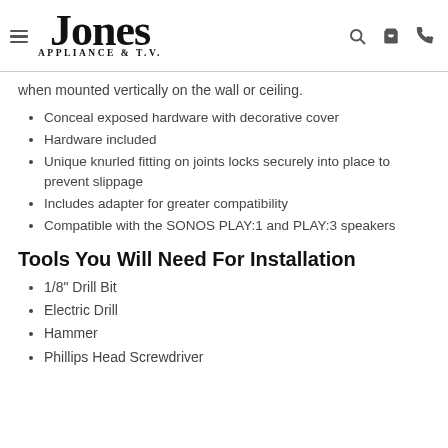Jones Appliance & T.V.
when mounted vertically on the wall or ceiling.
Conceal exposed hardware with decorative cover
Hardware included
Unique knurled fitting on joints locks securely into place to prevent slippage
Includes adapter for greater compatibility
Compatible with the SONOS PLAY:1 and PLAY:3 speakers
Tools You Will Need For Installation
1/8" Drill Bit
Electric Drill
Hammer
Phillips Head Screwdriver